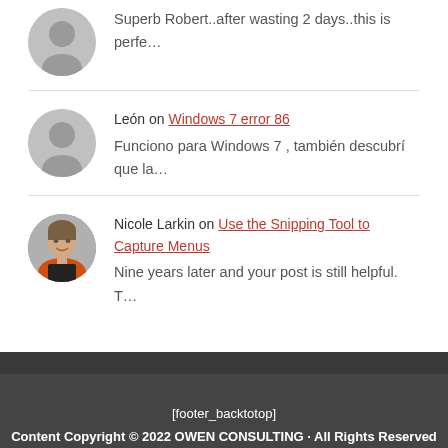Superb Robert..after wasting 2 days..this is perfe…
León on Windows 7 error 86
Funciono para Windows 7 , también descubrí que la…
[Figure (photo): User avatar photo of Nicole Larkin, a woman with light skin smiling, wearing an orange jacket]
Nicole Larkin on Use the Snipping Tool to Capture Menus
Nine years later and your post is still helpful. T…
[footer_backtotop]
Content Copyright © 2022 OWEN CONSULTING · All Rights Reserved · Log in